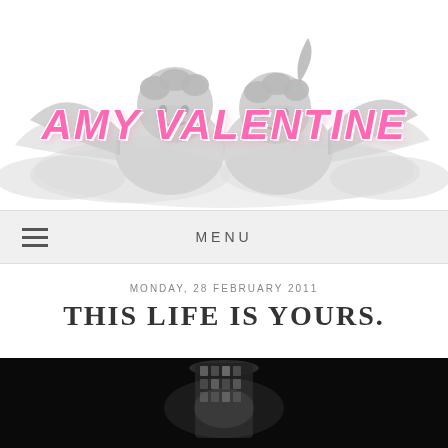[Figure (illustration): Blog header logo with two cherub angels on clouds and the text 'AMY VALENTINE' in large italic pink letters overlaid on top]
AMY VALENTINE
MENU
MONDAY, 28 FEBRUARY 2011
THIS LIFE IS YOURS.
[Figure (photo): Black and white photo of a crystal or glass decorative object on a dark background, bottom portion visible]